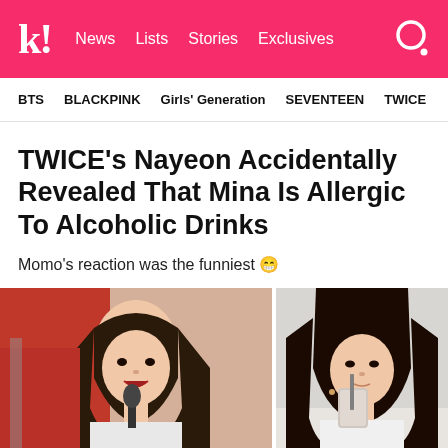K! News Lists Stories Exclusives
BTS   BLACKPINK   Girls' Generation   SEVENTEEN   TWICE
TWICE's Nayeon Accidentally Revealed That Mina Is Allergic To Alcoholic Drinks
Momo's reaction was the funniest 😁
[Figure (photo): Two side-by-side photos: left shows Nayeon speaking into a microphone with a red background, right shows Mina drinking from a cup with a straw against a light background]